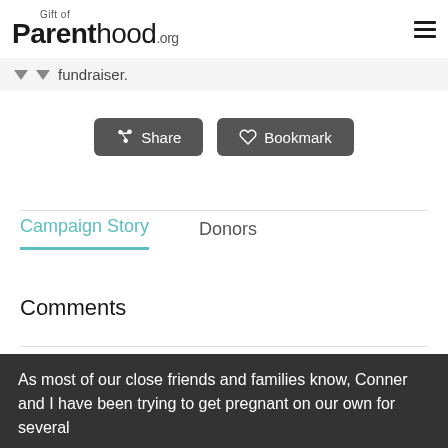Gift of Parenthood.org
fundraiser.
Share
Bookmark
Campaign Story
Donors
Comments
As most of our close friends and families know, Conner and I have been trying to get pregnant on our own for several